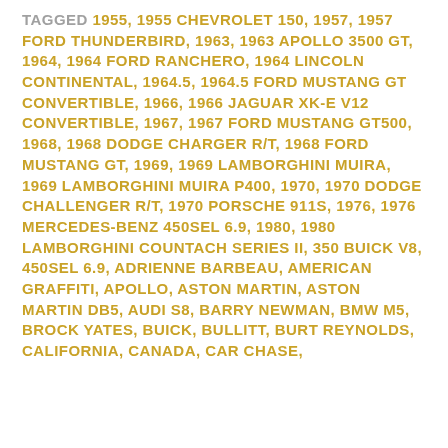TAGGED 1955, 1955 CHEVROLET 150, 1957, 1957 FORD THUNDERBIRD, 1963, 1963 APOLLO 3500 GT, 1964, 1964 FORD RANCHERO, 1964 LINCOLN CONTINENTAL, 1964.5, 1964.5 FORD MUSTANG GT CONVERTIBLE, 1966, 1966 JAGUAR XK-E V12 CONVERTIBLE, 1967, 1967 FORD MUSTANG GT500, 1968, 1968 DODGE CHARGER R/T, 1968 FORD MUSTANG GT, 1969, 1969 LAMBORGHINI MUIRA, 1969 LAMBORGHINI MUIRA P400, 1970, 1970 DODGE CHALLENGER R/T, 1970 PORSCHE 911S, 1976, 1976 MERCEDES-BENZ 450SEL 6.9, 1980, 1980 LAMBORGHINI COUNTACH SERIES II, 350 BUICK V8, 450SEL 6.9, ADRIENNE BARBEAU, AMERICAN GRAFFITI, APOLLO, ASTON MARTIN, ASTON MARTIN DB5, AUDI S8, BARRY NEWMAN, BMW M5, BROCK YATES, BUICK, BULLITT, BURT REYNOLDS, CALIFORNIA, CANADA, CAR CHASE,